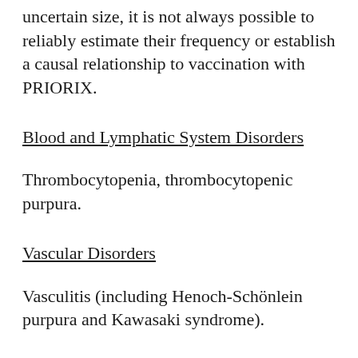uncertain size, it is not always possible to reliably estimate their frequency or establish a causal relationship to vaccination with PRIORIX.
Blood and Lymphatic System Disorders
Thrombocytopenia, thrombocytopenic purpura.
Vascular Disorders
Vasculitis (including Henoch-Schönlein purpura and Kawasaki syndrome).
Immune system Disorders
Anaphylactic reactions.